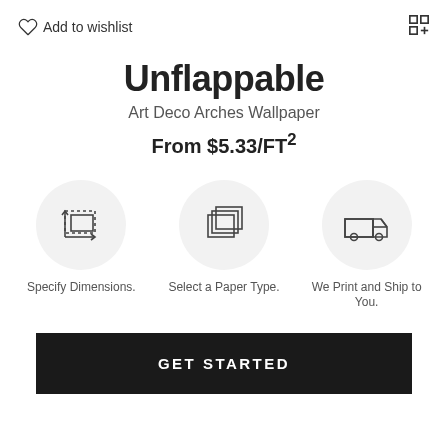Add to wishlist
Unflappable
Art Deco Arches Wallpaper
From $5.33/FT²
[Figure (infographic): Three circular icons in a row: 1) Specify Dimensions - a rectangle with dashed border and arrow, 2) Select a Paper Type - stacked paper sheets, 3) We Print and Ship to You - a delivery truck]
GET STARTED